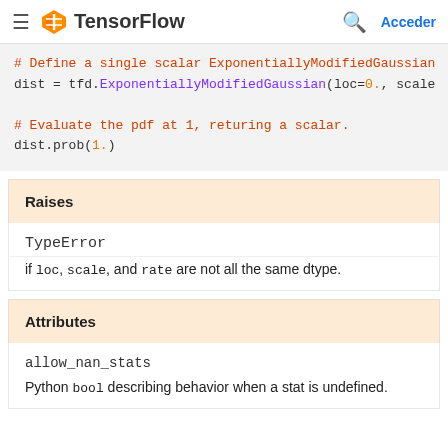TensorFlow — Acceder
# Define a single scalar ExponentiallyModifiedGaussian
dist = tfd.ExponentiallyModifiedGaussian(loc=0., scale

# Evaluate the pdf at 1, returing a scalar.
dist.prob(1.)
Raises
TypeError
if loc, scale, and rate are not all the same dtype.
Attributes
allow_nan_stats
Python bool describing behavior when a stat is undefined.